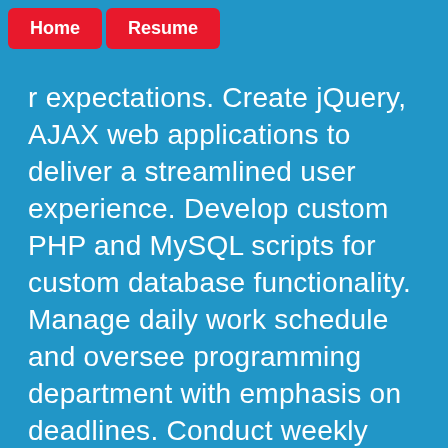Home | Resume
r expectations. Create jQuery, AJAX web applications to deliver a streamlined user experience. Develop custom PHP and MySQL scripts for custom database functionality. Manage daily work schedule and oversee programming department with emphasis on deadlines. Conduct weekly programming department meetings to leverage team assets for complicated buildouts. Create custom tutorial and training materials for end users and manage client/sales training. Manage hosting department with emphasis on website/email security, software updates and new website launches. Work with server team to trouble shoot problematic websites, broken functionality and hacked/malicious website issues.